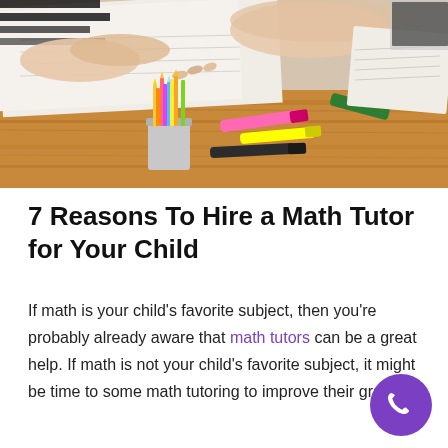[Figure (photo): Photo of hands working at a wooden desk with open notebooks, pencils in a cup, and colorful highlighters/markers scattered on the table surface. One person appears to be wearing a striped shirt.]
7 Reasons To Hire a Math Tutor for Your Child
If math is your child's favorite subject, then you're probably already aware that math tutors can be a great help. If math is not your child's favorite subject, it might be time to some math tutoring to improve their grade